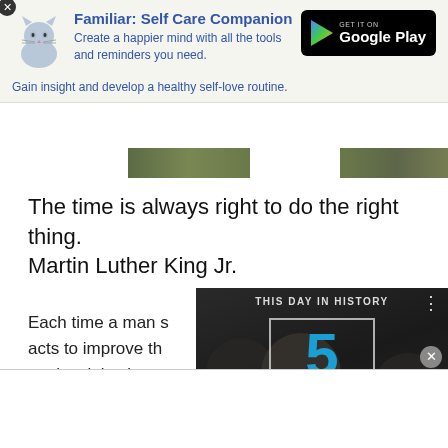[Figure (infographic): Ad banner for Familiar: Self Care Companion app with cat logo and Google Play button]
Familiar: Self Care Companion
Create a happier mind with all the tools and reminders you need.
Gain insight and develop a healthy self-love routine.
[Figure (photo): Partial landscape photo strip]
The time is always right to do the right thing. Martin Luther King Jr.
Each time a man stands up to improve the world, against injustice, of hope... and crosses million different centres, those ripples build a current that can sweep
[Figure (screenshot): This Day in History video overlay showing number 5 and the month AUGUST with video controls]